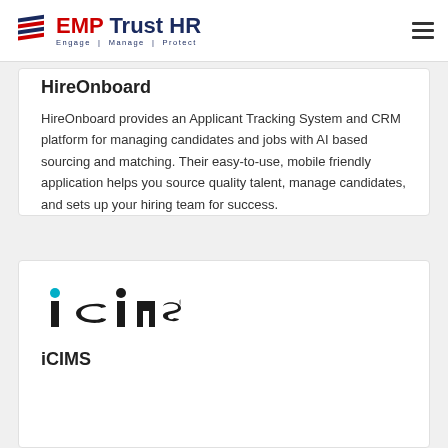EMP Trust HR | Engage | Manage | Protect
HireOnboard
HireOnboard provides an Applicant Tracking System and CRM platform for managing candidates and jobs with AI based sourcing and matching. Their easy-to-use, mobile friendly application helps you source quality talent, manage candidates, and sets up your hiring team for success.
[Figure (logo): iCIMS logo in teal/dark color]
iCIMS